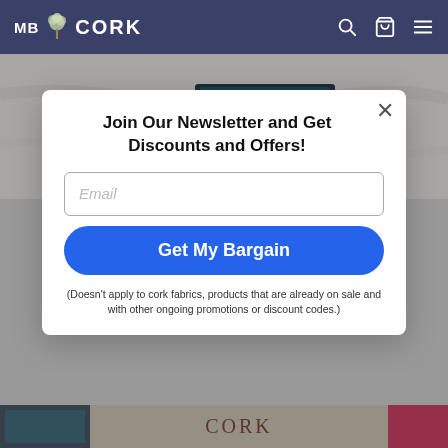MB CORK
[Figure (screenshot): Website screenshot showing MB Cork e-commerce site with a newsletter signup modal overlay. Background shows a desk with laptop and cork desk mat. Bottom shows product images.]
Join Our Newsletter and Get Discounts and Offers!
Email (input field placeholder)
Get My Bargain
(Doesn't apply to cork fabrics, products that are already on sale and with other ongoing promotions or discount codes.)